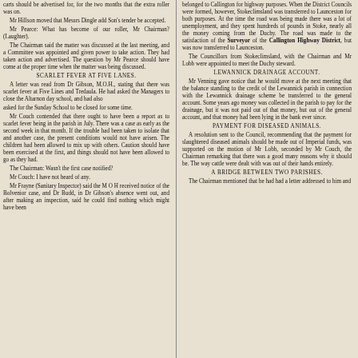carts should be advertised for, for the two months that the extra roller was on. Mr Hillson moved that Messrs Dingle add Son's tender be accepted. Mr Pearce: What has become of our roller, Mr Chairman? (Laughter). The Chairman said the matter was discussed at the last meeting, and a Committee was appointed and given power to take action. They had taken action and advertised. The question by Mr Pearce should have come at the proper time when the matter was being discussed.
SCARLET FEVER AT FIVE LANES.
A letter was read from Dr Gibson, M.O.H., stating that there was scarlet fever at Five Lines and Tredaula. He had asked the Managers to close the Altarnon day school, and had also asked for the Sunday School to be closed for some time. Mr Couch contended that there ought to have been a report as to scarlet fever being in the parish in July. There was a case as early as the second week in that month. If the trouble had been taken to isolate that and another case, the present conditions would not have arisen. The children had been allowed to mix up with others. Caution should have been exercised at the first, and things should not have been allowed to go as they had. The Chairman: Wasn't the first case notified? Mr Couch: I have not heard of any. Mr Frayne (Sanitary Inspector) said the M.O.H. received notice of the Bolvenior case, and Dr Budd, in Dr Gibson's absence went out, and after making an inspection, said he could find nothing which might have been
belonged to Callington for highway purposes. When the District Councils were formed, however, Stokeclimsland was transferred to Launceston for both purposes. At the time the road was being made there was a lot of unemployment, and they spent hundreds of pounds in Stoke, nearly all the money coming from the Duchy. The road was made to the satisfaction of the Surveyor of the Callington Highway District, but was now transferred to Launceston. The Councillors from Stokeclimsland, with the Chairman and Mr Lobb were appointed to meet the Duchy steward.
LEWANNICK DRAINAGE ACCOUNT.
Mr Venning gave notice that he would move at the next meeting that the balance standing to the credit of the Lewannick parish in connection with the Lewannick drainage scheme be transferred to the general account. Some years ago money was collected in the parish to pay for the drainage, but it was not paid out of that money, but out of the general account, and that money had been lying in the bank ever since.
PAYMENT FOR DISEASED ANIMALS.
A resolution sent to the Council, recommending that the payment for slaughtered diseased animals should be made out of Imperial funds, was supported on the motion of Mr Lobb, seconded by Mr Couch, the Chairman remarking that there was a good many reasons why it should be. The way cattle were dealt with was out of their hands entirely.
A BRIDGE BETWEEN TWO PARISHES.
The Chairman mentioned that he had had a letter addressed to him and